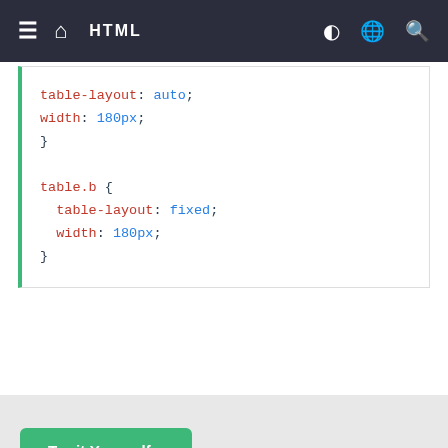≡  ⌂  HTML
[Figure (screenshot): Code block showing CSS for table.b with table-layout: auto; width: 180px; and table.b { table-layout: fixed; width: 180px; }]
Try it Yourself »
Definition and Usage
The table-layout property defines the algorithm used to lay out table cells, rows, and columns.